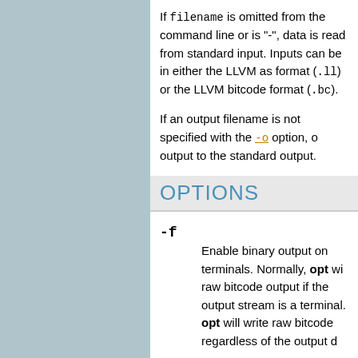If filename is omitted from the command line or is "-", data is read from standard input. Inputs can be in either the LLVM assembly format (.ll) or the LLVM bitcode format (.bc).
If an output filename is not specified with the -o option, output is written to the standard output.
OPTIONS
-f
Enable binary output on terminals. Normally, opt will refuse to write raw bitcode output if the output stream is a terminal. With this option, opt will write raw bitcode regardless of the output destination.
-help
Print a summary of command line options.
-o <filename>
Specify the output filename.
-S
Write output in LLVM intermediate language (instead...